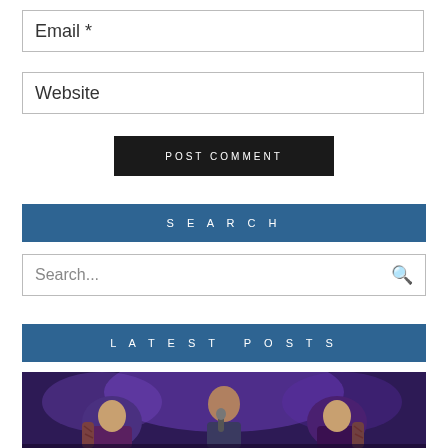Email *
Website
POST COMMENT
SEARCH
Search...
LATEST POSTS
[Figure (photo): Concert photo showing a bald performer singing into a microphone with tattooed musicians on either side, on a purple-lit stage]